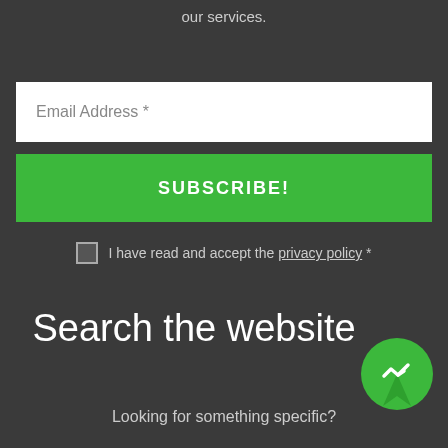our services.
[Figure (screenshot): Email address input field with white background and placeholder text 'Email Address *']
[Figure (screenshot): Green SUBSCRIBE! button]
I have read and accept the privacy policy *
Search the website
[Figure (illustration): Green circular Messenger chat icon with lightning bolt symbol]
Looking for something specific?